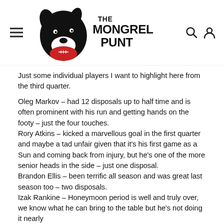The Mongrel Punt
Just some individual players I want to highlight here from the third quarter.
Oleg Markov – had 12 disposals up to half time and is often prominent with his run and getting hands on the footy – just the four touches.
Rory Atkins – kicked a marvellous goal in the first quarter and maybe a tad unfair given that it's his first game as a Sun and coming back from injury, but he's one of the more senior heads in the side – just one disposal.
Brandon Ellis – been terrific all season and was great last season too – two disposals.
Izak Rankine – Honeymoon period is well and truly over, we know what he can bring to the table but he's not doing it nearly